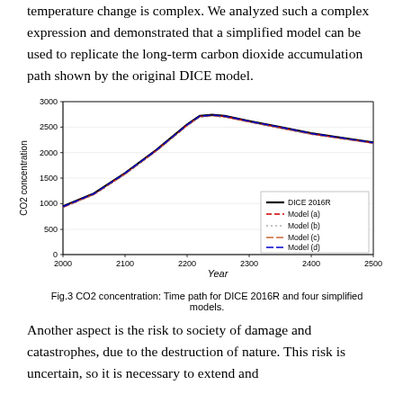temperature change is complex. We analyzed such a complex expression and demonstrated that a simplified model can be used to replicate the long-term carbon dioxide accumulation path shown by the original DICE model.
[Figure (continuous-plot): Line chart showing CO2 concentration over time from year 2000 to 2500. Five curves (DICE 2016R solid black, Model (a) red dashed, Model (b) grey dotted, Model (c) red-brown dashed, Model (d) blue dashed) rise from ~950 in 2000 to a peak of ~2750 around year 2220, then decline to ~2200 by 2500.]
Fig.3 CO2 concentration: Time path for DICE 2016R and four simplified models.
Another aspect is the risk to society of damage and catastrophes, due to the destruction of nature. This risk is uncertain, so it is necessary to extend and